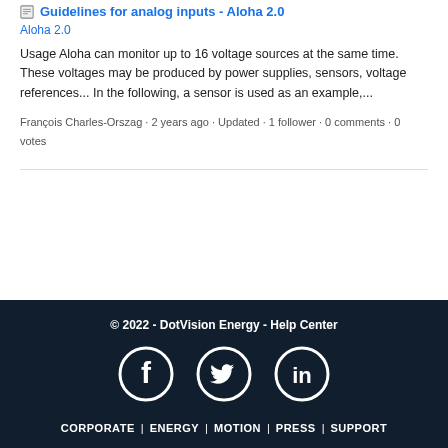Guidelines for analog inputs - Aloha 2.0
Aloha 2.0
Usage Aloha can monitor up to 16 voltage sources at the same time. These voltages may be produced by power supplies, sensors, voltage references... In the following, a sensor is used as an example,...
François Charles-Orszag · 2 years ago · Updated · 1 follower · 0 comments · 0 votes
© 2022 - DotVision Energy - Help Center
CORPORATE | ENERGY | MOTION | PRESS | SUPPORT